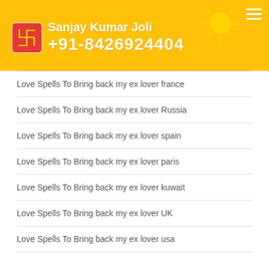Sanjay Kumar Joli +91-8426924404
Love Spells To Bring back my ex lover france
Love Spells To Bring back my ex lover Russia
Love Spells To Bring back my ex lover spain
Love Spells To Bring back my ex lover paris
Love Spells To Bring back my ex lover kuwait
Love Spells To Bring back my ex lover UK
Love Spells To Bring back my ex lover usa